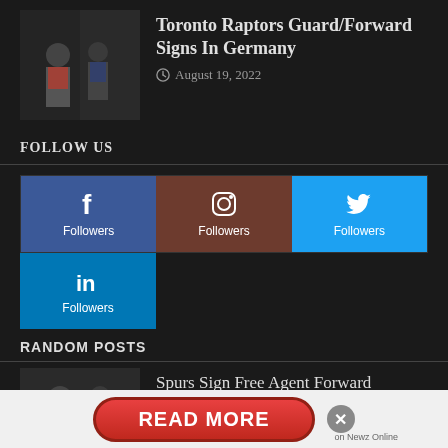[Figure (photo): Basketball players in game action]
Toronto Raptors Guard/Forward Signs In Germany
August 19, 2022
FOLLOW US
[Figure (infographic): Social media follow buttons: Facebook, Instagram, Twitter, LinkedIn]
RANDOM POSTS
[Figure (photo): Basketball game action photo]
Spurs Sign Free Agent Forward
[Figure (infographic): READ MORE advertisement banner with close button]